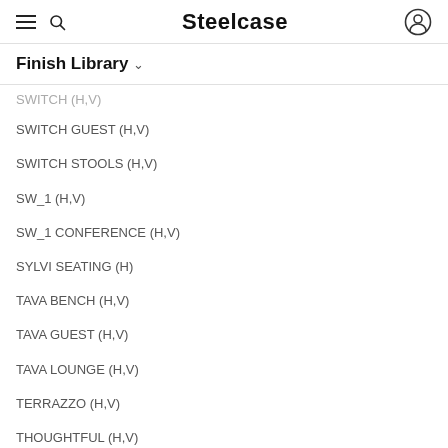Steelcase
Finish Library
SWITCH (H,V)
SWITCH GUEST (H,V)
SWITCH STOOLS (H,V)
SW_1 (H,V)
SW_1 CONFERENCE (H,V)
SYLVI SEATING (H)
TAVA BENCH (H,V)
TAVA GUEST (H,V)
TAVA LOUNGE (H,V)
TERRAZZO (H,V)
THOUGHTFUL (H,V)
TOGETHER (H,V)
TOPAZ (H,V)
TOPO (H,V)
TS2 PEDESTAL CUSHION (H,V)
TS2FILE (H,V)